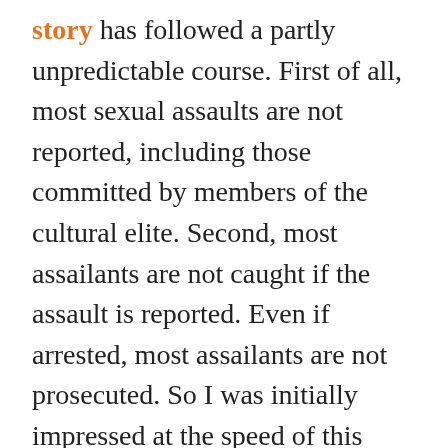story has followed a partly unpredictable course. First of all, most sexual assaults are not reported, including those committed by members of the cultural elite. Second, most assailants are not caught if the assault is reported. Even if arrested, most assailants are not prosecuted. So I was initially impressed at the speed of this beginning of this story, where the hotel maid reported, the police found evidence, and an arrest worthy of a TV drama (as the plane that DSK was on was preparing to take off). Wow, I thought,